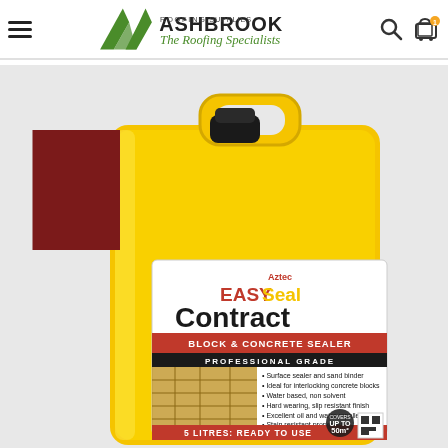[Figure (logo): Ashbrook Roofing Supplies logo with 'AA' emblem and tagline 'The Roofing Specialists']
[Figure (photo): Large yellow 5-litre jerry can of EASYSeal Contract Block & Concrete Sealer by Aztec, Professional Grade, Ready to Use. Label shows bullet points: Surface sealer and sand binder, Ideal for interlocking concrete blocks, Water based non solvent, Hard wearing slip resistant finish, Excellent oil and water repellent, Stain resistant properties, Resists general dirt and grime, Resists algae and lichen growth. Bottom label reads: 5 LITRES: READY TO USE. Covers up to 50m². Free Delivery triangle badge in top-left corner.]